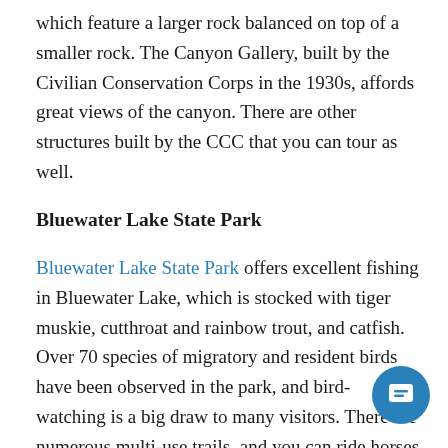which feature a larger rock balanced on top of a smaller rock. The Canyon Gallery, built by the Civilian Conservation Corps in the 1930s, affords great views of the canyon. There are other structures built by the CCC that you can tour as well.
Bluewater Lake State Park
Bluewater Lake State Park offers excellent fishing in Bluewater Lake, which is stocked with tiger muskie, cutthroat and rainbow trout, and catfish. Over 70 species of migratory and resident birds have been observed in the park, and bird-watching is a big draw to many visitors. There are numerous multi-use trails, and you can ride horses on the Prewitt side of the lake. There is also an equestrian boarding area just outside the park and across from the main entrance. Bluewater Lake State Park is next to the Yun. Mountains and affords beautiful views of the mountains and